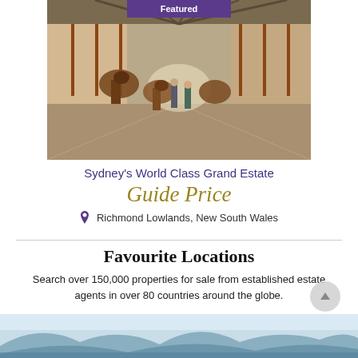[Figure (photo): Interior of a horse stable with people walking horses down the aisle, stalls on both sides, with a 'Featured' badge overlaid at the top.]
Sydney's World Class Grand Estate
Guide Price
Richmond Lowlands, New South Wales
Favourite Locations
Search over 150,000 properties for sale from established estate agents in over 80 countries around the globe.
[Figure (photo): Mountain landscape with blue tones at the bottom strip of the page.]